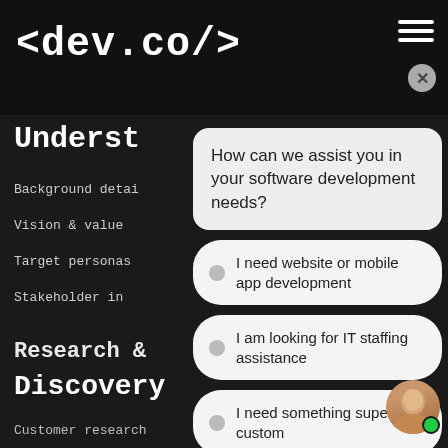<dev.co/>
Underst
Background detai
Vision & value
Target personas
Stakeholder in
[Figure (screenshot): Chat overlay widget with question 'How can we assist you in your software development needs?' and three radio button options: 'I need website or mobile app development', 'I am looking for IT staffing assistance', 'I need something super custom']
Research &
Discovery
Customer research